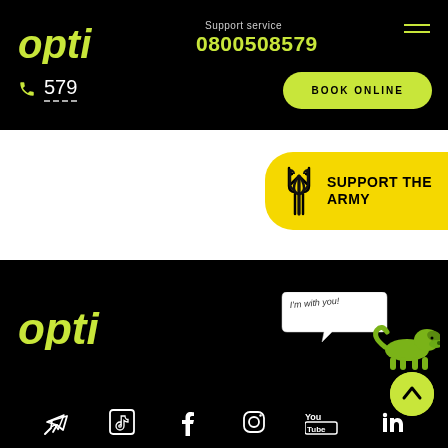[Figure (logo): Opti taxi logo in yellow-green on black background]
Support service
0800508579
BOOK ONLINE
579
[Figure (infographic): Support the Army banner with Ukrainian trident symbol on yellow background]
[Figure (logo): Opti logo in yellow-green on black footer]
[Figure (illustration): Green dachshund dog mascot with speech bubble saying I'm with you!]
[Figure (other): Scroll to top button - green circle with chevron up arrow]
[Figure (other): Social media icons row: Telegram, TikTok, Facebook, Instagram, YouTube, LinkedIn]